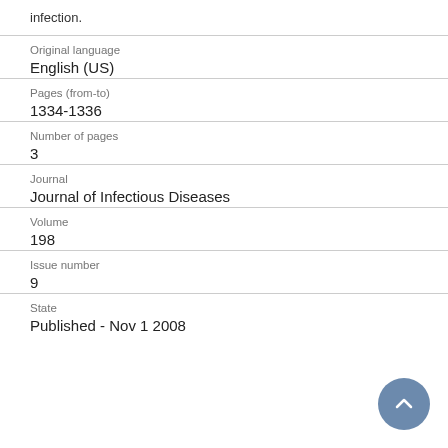infection.
Original language
English (US)
Pages (from-to)
1334-1336
Number of pages
3
Journal
Journal of Infectious Diseases
Volume
198
Issue number
9
State
Published - Nov 1 2008